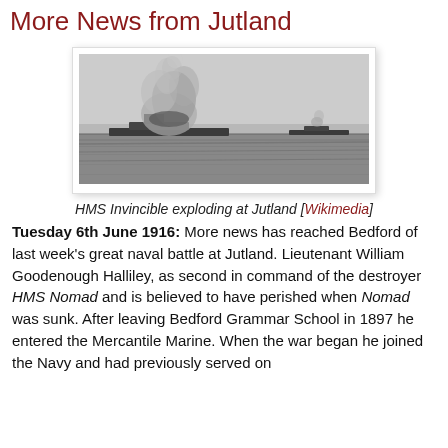More News from Jutland
[Figure (photo): Black and white photograph of HMS Invincible exploding at the Battle of Jutland, showing a warship on fire with large smoke clouds rising from the horizon at sea.]
HMS Invincible exploding at Jutland [Wikimedia]
Tuesday 6th June 1916: More news has reached Bedford of last week's great naval battle at Jutland. Lieutenant William Goodenough Halliley, as second in command of the destroyer HMS Nomad and is believed to have perished when Nomad was sunk. After leaving Bedford Grammar School in 1897 he entered the Mercantile Marine. When the war began he joined the Navy and had previously served on